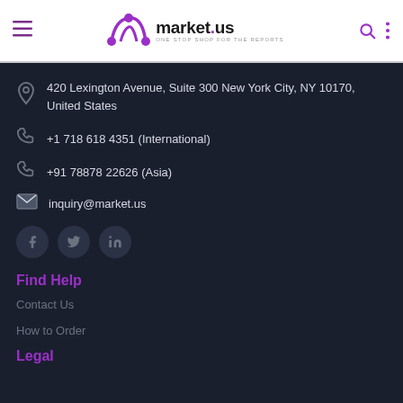market.us — ONE STOP SHOP FOR THE REPORTS
420 Lexington Avenue, Suite 300 New York City, NY 10170,
United States
+1 718 618 4351 (International)
+91 78878 22626 (Asia)
inquiry@market.us
Find Help
Contact Us
How to Order
Legal